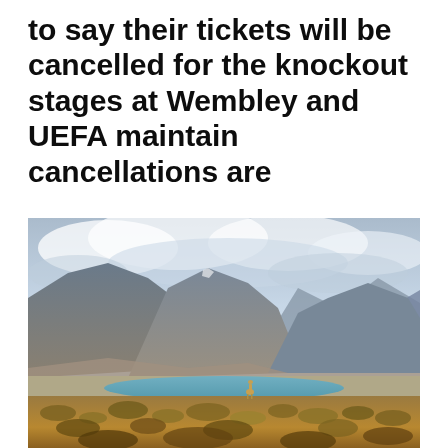to say their tickets will be cancelled for the knockout stages at Wembley and UEFA maintain cancellations are
[Figure (photo): Landscape photo of an arid high-altitude scene with barren mountains in the background under a cloudy sky, a turquoise lake in the middle ground, dry scrubland in the foreground, and a single giraffe or llama-like animal standing near the lake shore.]